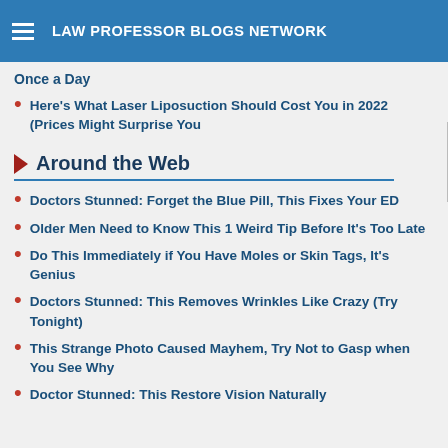LAW PROFESSOR BLOGS NETWORK
Once a Day
Here's What Laser Liposuction Should Cost You in 2022 (Prices Might Surprise You
Around the Web
Doctors Stunned: Forget the Blue Pill, This Fixes Your ED
Older Men Need to Know This 1 Weird Tip Before It's Too Late
Do This Immediately if You Have Moles or Skin Tags, It's Genius
Doctors Stunned: This Removes Wrinkles Like Crazy (Try Tonight)
This Strange Photo Caused Mayhem, Try Not to Gasp when You See Why
Doctor Stunned: This Restore Vision Naturally